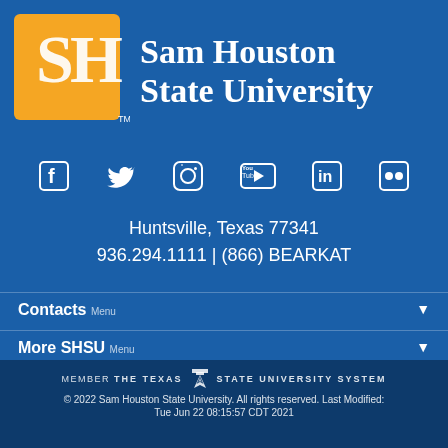[Figure (logo): Sam Houston State University logo: orange square with white SH letters and TM mark, next to white text 'Sam Houston State University' on blue background]
[Figure (infographic): Six social media icons in a row: Facebook, Twitter, Instagram, YouTube, LinkedIn, Flickr]
Huntsville, Texas 77341
936.294.1111 | (866) BEARKAT
Contacts Menu
More SHSU Menu
MEMBER THE TEXAS STATE UNIVERSITY SYSTEM
© 2022 Sam Houston State University. All rights reserved. Last Modified:
Tue Jun 22 08:15:57 CDT 2021